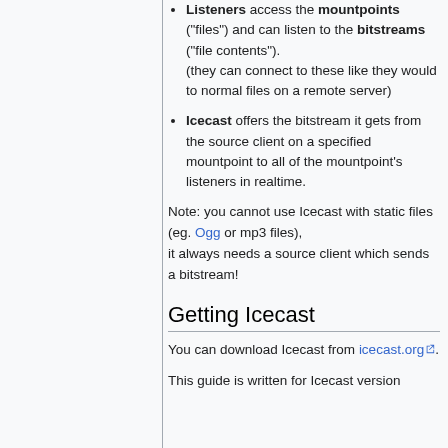Listeners access the mountpoints ("files") and can listen to the bitstreams ("file contents"). (they can connect to these like they would to normal files on a remote server)
Icecast offers the bitstream it gets from the source client on a specified mountpoint to all of the mountpoint's listeners in realtime.
Note: you cannot use Icecast with static files (eg. Ogg or mp3 files), it always needs a source client which sends a bitstream!
Getting Icecast
You can download Icecast from icecast.org.
This guide is written for Icecast version